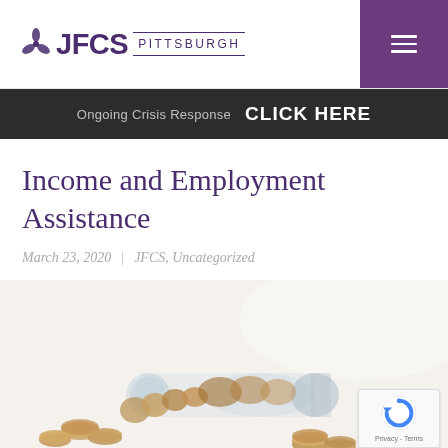[Figure (logo): JFCS Pittsburgh logo with purple flower/leaf icon and text JFCS PITTSBURGH]
[Figure (screenshot): Purple hamburger menu button in top right corner]
Ongoing Crisis Response  CLICK HERE
Income and Employment Assistance
March 23, 2020  |  JFCS, Uncategorized
[Figure (photo): Photo of a glass jar tipped on its side spilling coins on a white surface]